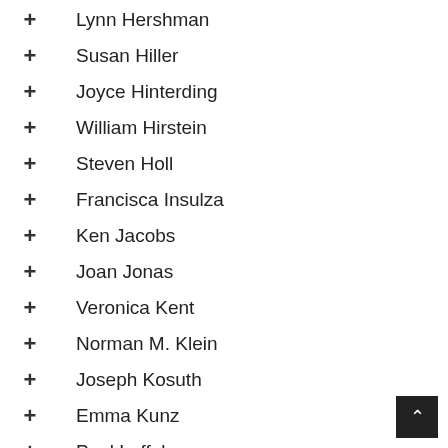Lynn Hershman
Susan Hiller
Joyce Hinterding
William Hirstein
Steven Holl
Francisca Insulza
Ken Jacobs
Joan Jonas
Veronica Kent
Norman M. Klein
Joseph Kosuth
Emma Kunz
Paul Laffoley